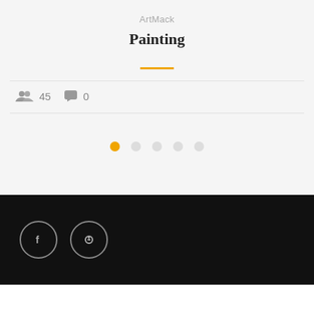ArtMack
Painting
45 members  0 comments
[Figure (other): Pagination dots: 5 dots, first one orange/active, rest grey]
[Figure (other): Footer bar with Facebook and Pinterest social icon circles]